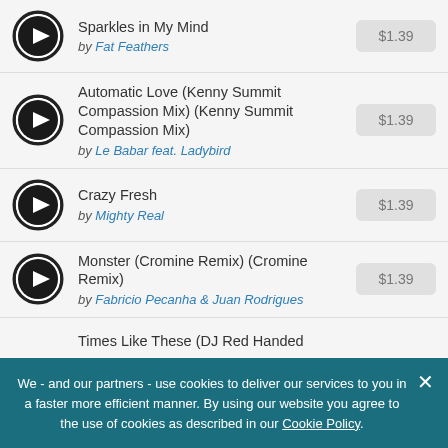Sparkles in My Mind by Fat Feathers $1.39
Automatic Love (Kenny Summit Compassion Mix) (Kenny Summit Compassion Mix) by Le Babar feat. Ladybird $1.39
Crazy Fresh by Mighty Real $1.39
Monster (Cromine Remix) (Cromine Remix) by Fabricio Pecanha & Juan Rodrigues $1.39
Times Like These (DJ Red Handed...
We - and our partners - use cookies to deliver our services to you in a faster more efficient manner. By using our website you agree to the use of cookies as described in our Cookie Policy.